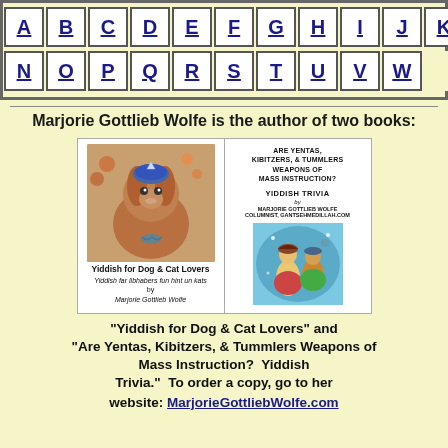A B C D E F G H I J K L M N O P Q R S T U V W Y Z
Marjorie Gottlieb Wolfe is the author of two books:
[Figure (illustration): Two book covers side by side. Left: 'Yiddish for Dog & Cat Lovers' with a dog wearing a kippah. Right: 'Are Yentas, Kibitzers, & Tummlers Weapons of Mass Instruction? Yiddish Trivia by Marjorie Gottlieb Wolfe' with a fantasy illustration.]
"Yiddish for Dog & Cat Lovers" and "Are Yentas, Kibitzers, & Tummlers Weapons of Mass Instruction? Yiddish Trivia." To order a copy, go to her website: MarjorieGottliebWolfe.com